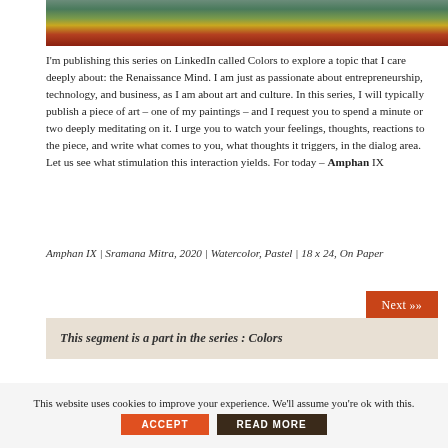[Figure (photo): Partial view of a colorful painting showing abstract landscape forms in green, yellow, orange, and red tones — appears to be the top edge of the Amphan IX artwork by Sramana Mitra.]
I'm publishing this series on LinkedIn called Colors to explore a topic that I care deeply about: the Renaissance Mind. I am just as passionate about entrepreneurship, technology, and business, as I am about art and culture. In this series, I will typically publish a piece of art – one of my paintings – and I request you to spend a minute or two deeply meditating on it. I urge you to watch your feelings, thoughts, reactions to the piece, and write what comes to you, what thoughts it triggers, in the dialog area. Let us see what stimulation this interaction yields. For today – Amphan IX
Amphan IX | Sramana Mitra, 2020 | Watercolor, Pastel | 18 x 24, On Paper
Next »»
This segment is a part in the series : Colors
This website uses cookies to improve your experience. We'll assume you're ok with this.
ACCEPT
READ MORE